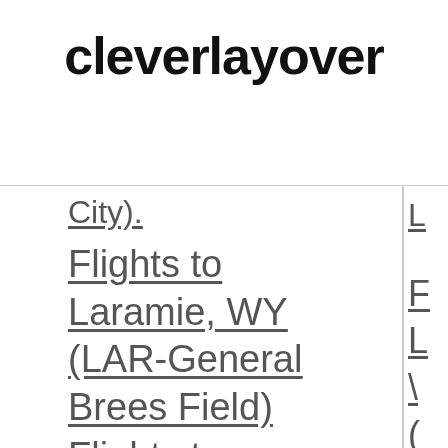cleverlayover
...City)...
Flights to Laramie, WY (LAR-General Brees Field)
Flights to